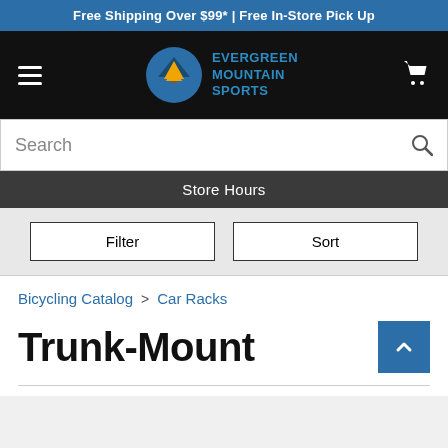Free Shipping Over $99* | Free In-Store Pick Up
[Figure (logo): Evergreen Mountain Sports logo: circular blue and gold mountain/tree design with text EVERGREEN MOUNTAIN SPORTS]
Search
Store Hours
Filter
Sort
Bicycling Catalog > Car Racks
Trunk-Mount